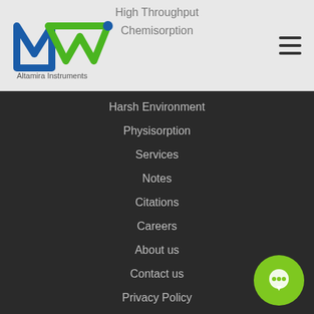[Figure (logo): Altamira Instruments logo with blue and green M/W shapes]
High Throughput
Chemisorption
Harsh Environment
Physisorption
Services
Notes
Citations
Careers
About us
Contact us
Privacy Policy
Terms of Use
NEWSLETTER
Keep me informed about product details and local eve…